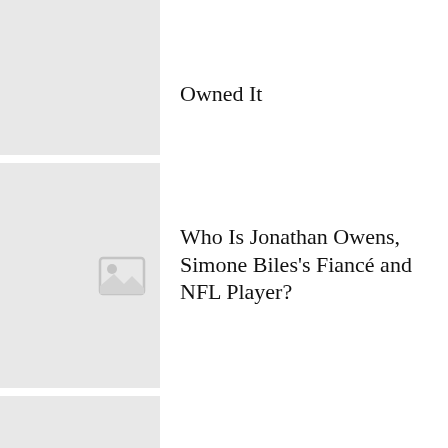[Figure (illustration): Gray placeholder thumbnail image for first article]
Owned It
[Figure (illustration): Gray placeholder thumbnail image for second article with image icon]
Who Is Jonathan Owens, Simone Biles's Fiancé and NFL Player?
[Figure (illustration): Gray placeholder thumbnail image for third article with image icon]
Surprise! Priyanka Chopra Jonas and